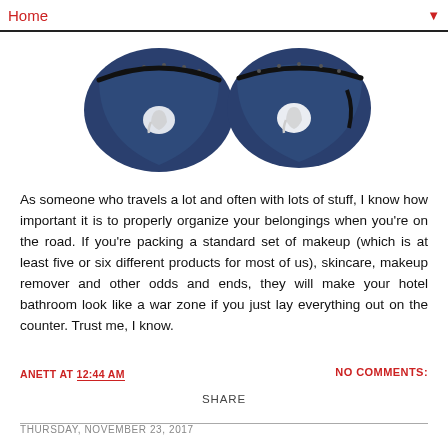Home ▼
[Figure (photo): Two navy blue travel bag/makeup organizers with zippers and a white elephant logo, shown from above against a white background]
As someone who travels a lot and often with lots of stuff, I know how important it is to properly organize your belongings when you're on the road. If you're packing a standard set of makeup (which is at least five or six different products for most of us), skincare, makeup remover and other odds and ends, they will make your hotel bathroom look like a war zone if you just lay everything out on the counter. Trust me, I know.
ANETT AT 12:44 AM
NO COMMENTS:
SHARE
THURSDAY, NOVEMBER 23, 2017